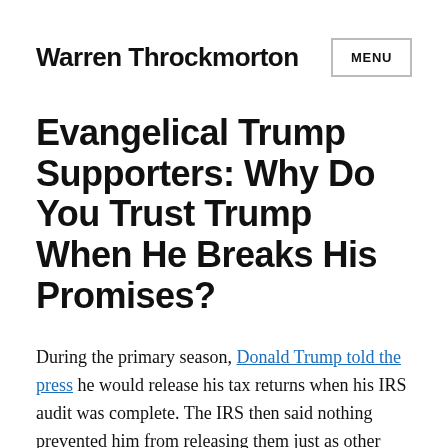Warren Throckmorton
Evangelical Trump Supporters: Why Do You Trust Trump When He Breaks His Promises?
During the primary season, Donald Trump told the press he would release his tax returns when his IRS audit was complete. The IRS then said nothing prevented him from releasing them just as other presidential candidates have done